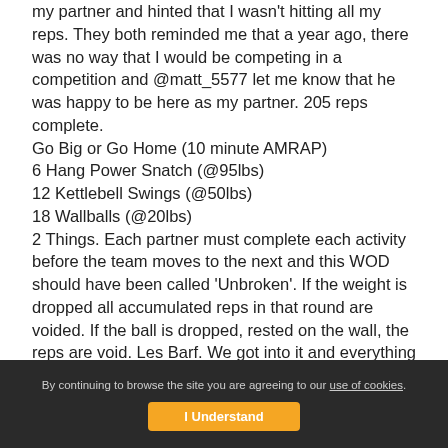my partner and hinted that I wasn't hitting all my reps. They both reminded me that a year ago, there was no way that I would be competing in a competition and @matt_5577 let me know that he was happy to be here as my partner. 205 reps complete.
Go Big or Go Home (10 minute AMRAP)
6 Hang Power Snatch (@95lbs)
12 Kettlebell Swings (@50lbs)
18 Wallballs (@20lbs)
2 Things. Each partner must complete each activity before the team moves to the next and this WOD should have been called 'Unbroken'. If the weight is dropped all accumulated reps in that round are voided. If the ball is dropped, rested on the wall, the reps are void. Les Barf. We got into it and everything was peachy until we got to the Wallball. It's funny how the dynamic of the Wallball changes
By continuing to browse the site you are agreeing to our use of cookies. I Understand